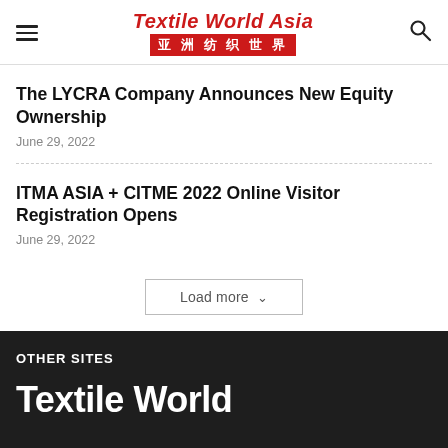Textile World Asia 亚洲纺织世界
The LYCRA Company Announces New Equity Ownership
June 29, 2022
ITMA ASIA + CITME 2022 Online Visitor Registration Opens
June 29, 2022
Load more
OTHER SITES
[Figure (logo): Textile World logo in white bold text on dark background]